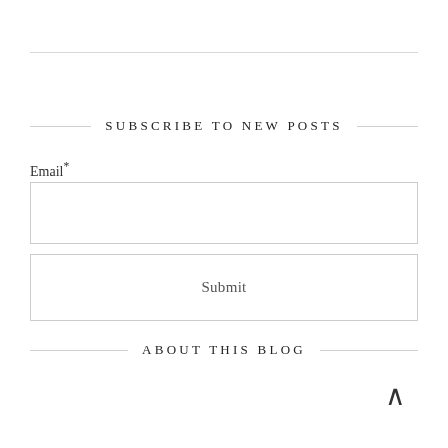SUBSCRIBE TO NEW POSTS
Email*
Submit
ABOUT THIS BLOG